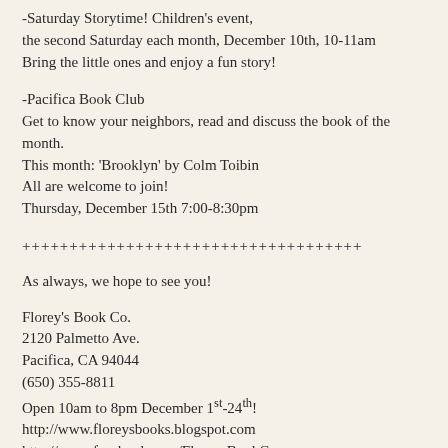-Saturday Storytime! Children's event, the second Saturday each month, December 10th, 10-11am
Bring the little ones and enjoy a fun story!
-Pacifica Book Club
Get to know your neighbors, read and discuss the book of the month.
This month: 'Brooklyn' by Colm Toibin
All are welcome to join!
Thursday, December 15th 7:00-8:30pm
++++++++++++++++++++++++++++++++++
As always, we hope to see you!
Florey's Book Co.
2120 Palmetto Ave.
Pacifica, CA 94044
(650) 355-8811
Open 10am to 8pm December 1st-24th!
http://www.floreysbooks.blogspot.com
http://www.facebook.com/FloreysBookCo